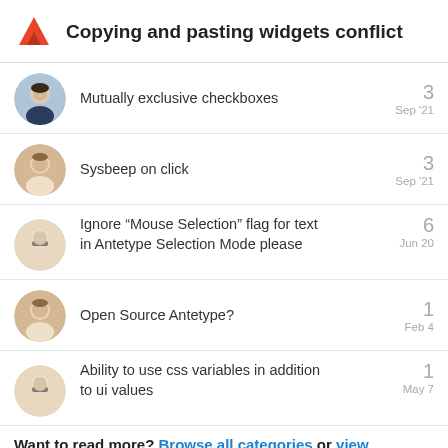Copying and pasting widgets conflict
Mutually exclusive checkboxes
Sysbeep on click
Ignore “Mouse Selection” flag for text in Antetype Selection Mode please
Open Source Antetype?
Ability to use css variables in addition to ui values
Want to read more? Browse all categories or view